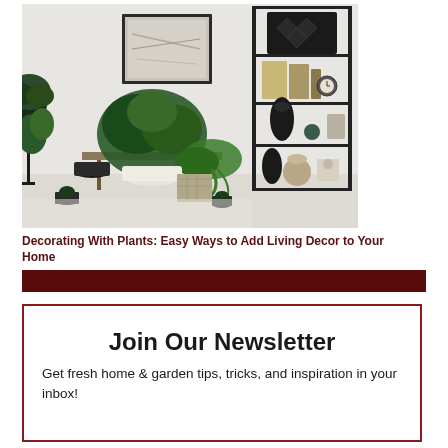[Figure (photo): Interior room scene with many potted green plants on stands and floor, a metal shelving unit with decorative items (vases, clock, wine rack), a framed artwork on the wall, white background.]
Decorating With Plants: Easy Ways to Add Living Decor to Your Home
[Figure (other): Dark red/maroon horizontal banner bar]
Join Our Newsletter
Get fresh home & garden tips, tricks, and inspiration in your inbox!